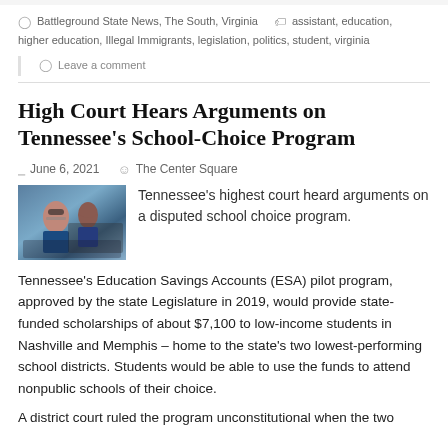Battleground State News, The South, Virginia   assistant, education, higher education, Illegal Immigrants, legislation, politics, student, virginia
Leave a comment
High Court Hears Arguments on Tennessee's School-Choice Program
June 6, 2021   The Center Square
[Figure (photo): Students in a classroom, a child with glasses visible in foreground]
Tennessee's highest court heard arguments on a disputed school choice program.
Tennessee's Education Savings Accounts (ESA) pilot program, approved by the state Legislature in 2019, would provide state-funded scholarships of about $7,100 to low-income students in Nashville and Memphis – home to the state's two lowest-performing school districts. Students would be able to use the funds to attend nonpublic schools of their choice.
A district court ruled the program unconstitutional when the two